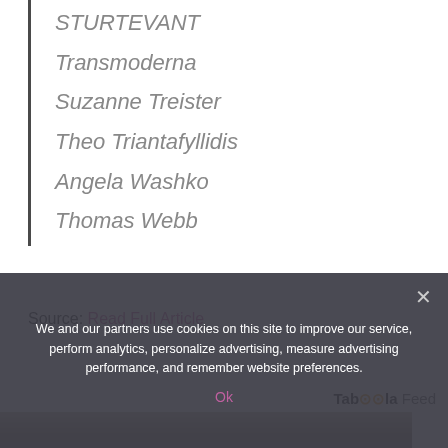STURTEVANT
Transmoderna
Suzanne Treister
Theo Triantafyllidis
Angela Washko
Thomas Webb
Source: Read Full Article
[Figure (other): Taboola Feed logo/label with outdoor/stone background photo strip]
We and our partners use cookies on this site to improve our service, perform analytics, personalize advertising, measure advertising performance, and remember website preferences.
Ok